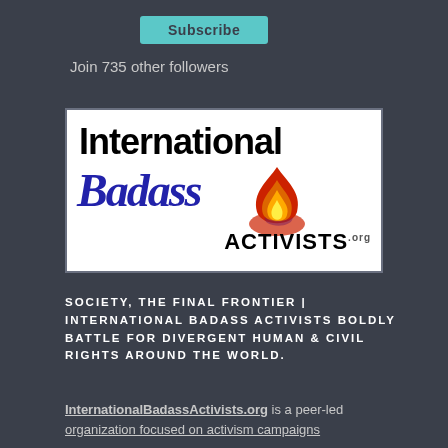Subscribe
Join 735 other followers
[Figure (logo): International Badass Activists logo with stylized text and flame graphic on white background]
SOCIETY, THE FINAL FRONTIER | INTERNATIONAL BADASS ACTIVISTS BOLDLY BATTLE FOR DIVERGENT HUMAN & CIVIL RIGHTS AROUND THE WORLD.
InternationalBadassActivists.org is a peer-led organization focused on activism campaigns